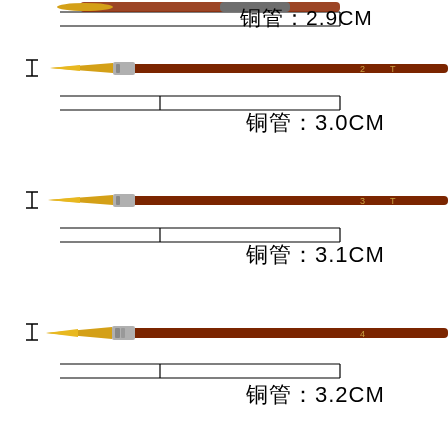[Figure (illustration): Partial view of a paint brush at top with measurement annotation showing 铜管：2.9CM]
[Figure (illustration): Paint brush number 2 with red-brown handle, yellow bristle tip, with measurement annotation showing 铜管：3.0CM]
[Figure (illustration): Paint brush number 3 with red-brown handle, yellow bristle tip, with measurement annotation showing 铜管：3.1CM]
[Figure (illustration): Paint brush number 4 with red-brown handle, yellow bristle tip, with measurement annotation showing 铜管：3.2CM]